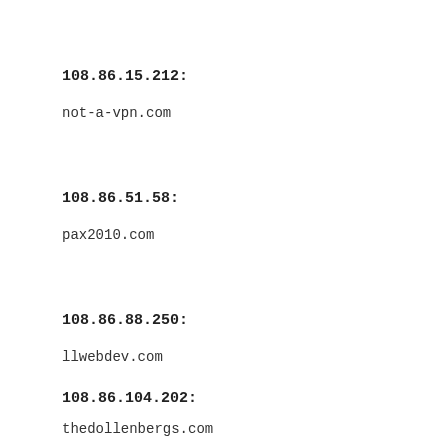108.86.15.212:
not-a-vpn.com
108.86.51.58:
pax2010.com
108.86.88.250:
llwebdev.com
108.86.104.202:
thedollenbergs.com